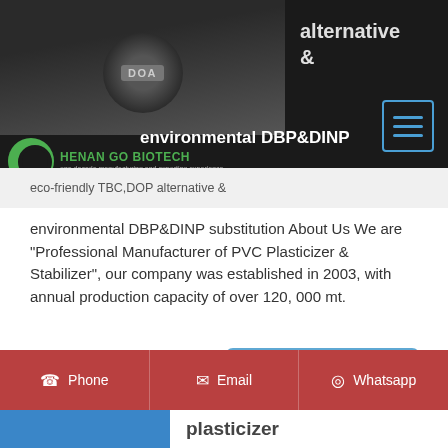[Figure (screenshot): Dark banner with DOA product image, Henan Go Biotech logo, alternative & text, menu hamburger icon, and environmental DBP&DINP text]
eco-friendly TBC,DOP alternative & environmental DBP&DINP substitution About Us We are "Professional Manufacturer of PVC Plasticizer & Stabilizer", our company was established in 2003, with annual production capacity of over 120, 000 mt.
Send Inquiry
Get Price
Phone   Email   Whatsapp
plasticizer